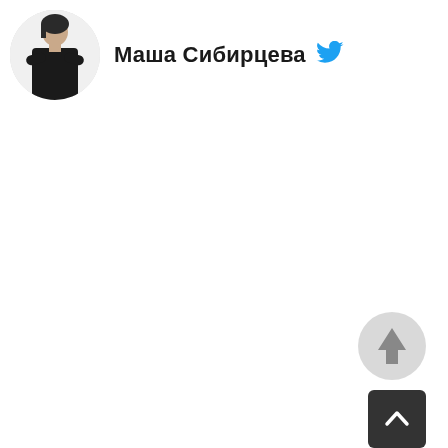[Figure (photo): Circular avatar photo of a person wearing black, arms crossed, against white background]
Маша Сибирцева
[Figure (logo): Twitter bird logo icon in blue]
[Figure (other): Gray circular scroll-to-top button with upward arrow]
[Figure (other): Dark gray square scroll-to-top button with upward chevron arrow]